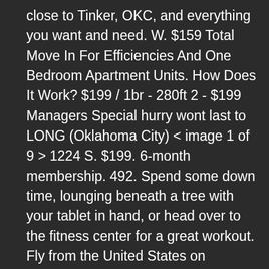close to Tinker, OKC, and everything you want and need. W. $159 Total Move In For Efficiencies And One Bedroom Apartment Units. How Does It Work? $199 / 1br - 280ft 2 - $199 Managers Special hurry wont last to LONG (Oklahoma City) < image 1 of 9 > 1224 S. $199. 6-month membership. 492. Spend some down time, lounging beneath a tree with your tablet in hand, or head over to the fitness center for a great workout. Fly from the United States on Frontier, United Airlines, Delta and more. $32. Two 60-Minute Jump Passes; Valid Wednesday—Friday (Jump Socks Not Included) Simple Canvas Prints. Premium Vendor : Green Country Arms & Pawn - Will Ship. Get in touch with us TODAY to make the most of this IMPRESSIVE price !!!!! Lakewood Park Apartments. Features: Discover the welcoming and friendly atmosphere of our cozy community that one could call home.